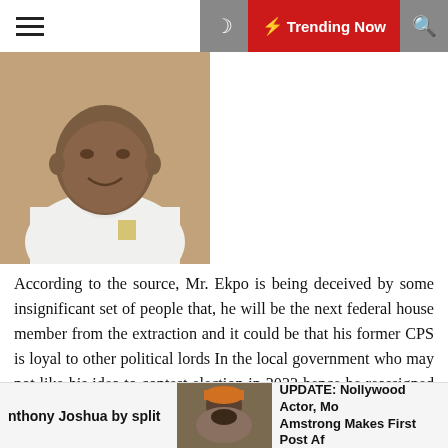☰  ☽  ⚡ Trending Now  🔍
[Figure (photo): A smiling young man in a white top, photographed from roughly chest up.]
According to the source, Mr. Ekpo is being deceived by some insignificant set of people that, he will be the next federal house member from the extraction and it could be that his former CPS is loyal to other political lords In the local government who may not like his idea to contest election in 2023 hence he reassigned him to the lower position to prevent him from getting sensitive information directly from his boss.
nthony Joshua by split   UPDATE: Nollywood Actor, Mo Amstrong Makes First Post Af